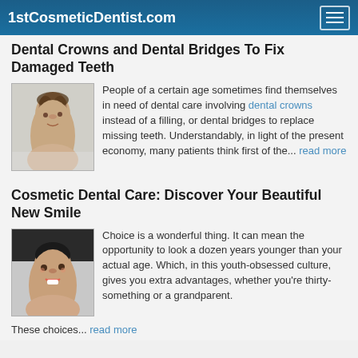1stCosmeticDentist.com
Dental Crowns and Dental Bridges To Fix Damaged Teeth
People of a certain age sometimes find themselves in need of dental care involving dental crowns instead of a filling, or dental bridges to replace missing teeth. Understandably, in light of the present economy, many patients think first of the... read more
Cosmetic Dental Care: Discover Your Beautiful New Smile
Choice is a wonderful thing. It can mean the opportunity to look a dozen years younger than your actual age. Which, in this youth-obsessed culture, gives you extra advantages, whether you're thirty-something or a grandparent.
These choices... read more